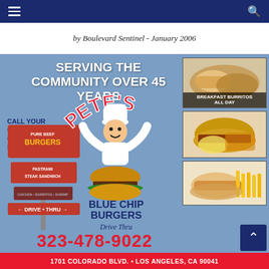by Boulevard Sentinel - January 2006
[Figure (illustration): Pete's Blue Chip Burgers advertisement. Features cartoon chef with burger, restaurant sign showing 'Pure Beef Burgers', 'Pastrami Steak Sandwich', 'Drive Thru'. Three food photos on right: Breakfast Burritos, burger with fries, sandwich with fries.]
SERVING THE COMMUNITY OVER 45 YEARS
CALL YOUR ORDER IN OR DRIVE THRU
BREAKFAST BURRITOS ALL DAY
323-478-9022
1701 COLORADO BLVD. • LOS ANGELES, CA 90041